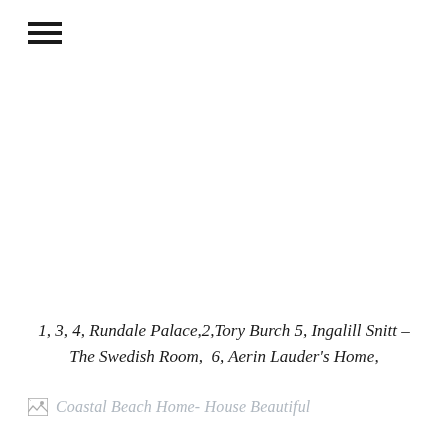[Figure (other): Hamburger menu icon with three horizontal lines]
1, 3, 4, Rundale Palace,2,Tory Burch 5, Ingalill Snitt – The Swedish Room, 6, Aerin Lauder's Home,
[Figure (photo): Broken image placeholder with label: Coastal Beach Home- House Beautiful]